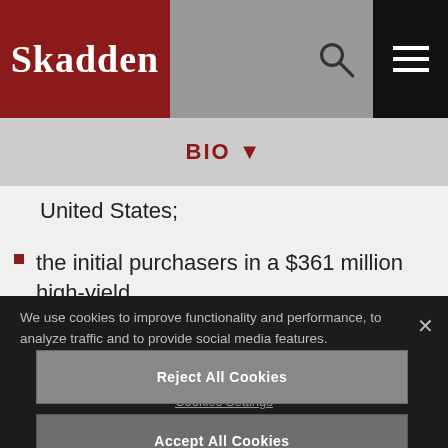[Figure (screenshot): Skadden law firm website header with red logo area on left, grey navigation area in middle, search icon and hamburger menu on right]
BIO ▾
United States;
the initial purchasers in a $361 million high-yield offering to finance the construction financing
We use cookies to improve functionality and performance, to analyze traffic and to provide social media features.
Cookies Settings
Reject All Cookies
Accept All Cookies